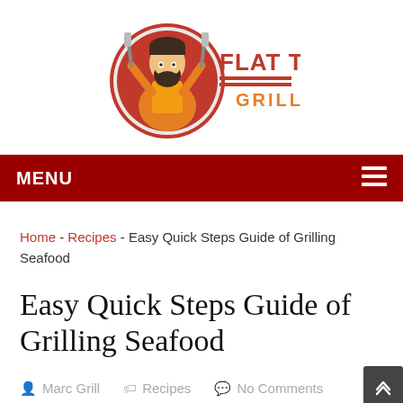[Figure (logo): Flat Top Grills logo: cartoon bearded man in orange apron holding two spatulas inside a red circle, with 'FLAT TOP GRILLS' text in red and orange letters]
MENU
Home - Recipes - Easy Quick Steps Guide of Grilling Seafood
Easy Quick Steps Guide of Grilling Seafood
Marc Grill   Recipes   No Comments